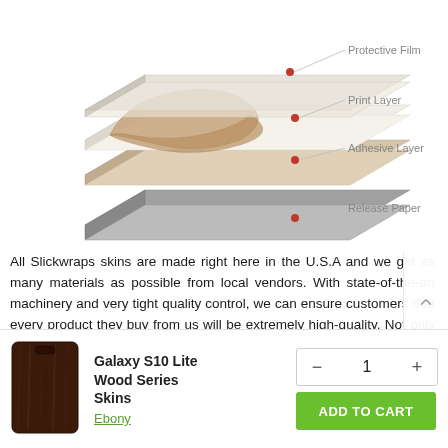[Figure (schematic): Exploded diagram of a skin/wrap product showing four layers labeled: Protective Film (top), Print Layer, Adhesive Layer, Release Paper (bottom). Each layer is indicated with a red dot and a line pointing to the label on the right.]
All Slickwraps skins are made right here in the U.S.A and we get as many materials as possible from local vendors. With state-of-the-art machinery and very tight quality control, we can ensure customers that every product they buy from us will be extremely high-quality. Not only do we exceptional phone skins and cases but we also make
[Figure (photo): Thumbnail image of a Galaxy S10 Lite Wood Series Skin in Ebony — dark wood grain pattern on a phone-shaped skin.]
Galaxy S10 Lite Wood Series Skins
Ebony
- 1 +
ADD TO CART